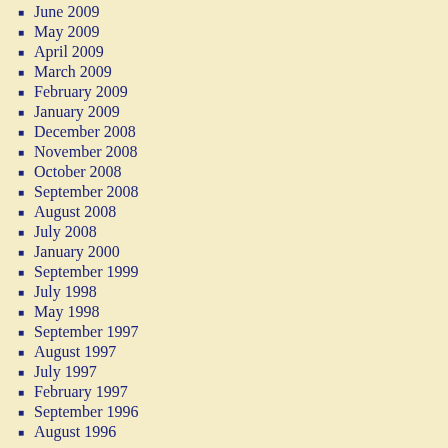June 2009
May 2009
April 2009
March 2009
February 2009
January 2009
December 2008
November 2008
October 2008
September 2008
August 2008
July 2008
January 2000
September 1999
July 1998
May 1998
September 1997
August 1997
July 1997
February 1997
September 1996
August 1996